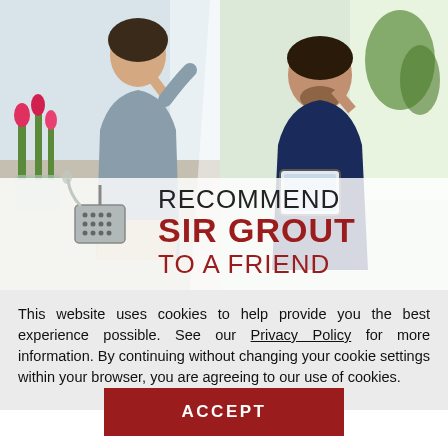[Figure (photo): Split photo: left side shows a woman talking on a phone while sitting near a window with tulips; right side shows a man talking on a phone while holding a tablet, sitting in a bright room. Overlaid text reads 'RECOMMEND SIR GROUT TO A FRIEND' with a Sir Grout logo.]
This website uses cookies to help provide you the best experience possible. See our Privacy Policy for more information. By continuing without changing your cookie settings within your browser, you are agreeing to our use of cookies.
ACCEPT